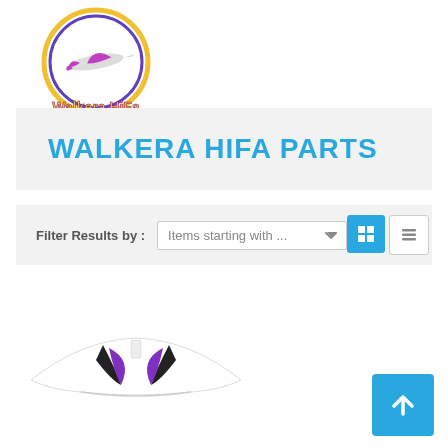[Figure (logo): Walkera HiFa logo: circular emblem with RC airplane and stylized text 'Walkera HiFa' below]
WALKERA HIFA PARTS
Filter Results by :  Items starting with ...
[Figure (photo): White RC airplane wing/fuselage part with black and purple markings]
[Figure (other): Scroll-to-top button with upward chevron arrow, blue background]